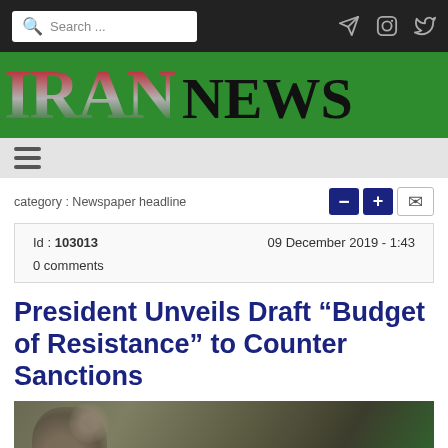IRAN NEWS
category : Newspaper headline
Id : 103013
09 December 2019 - 1:43
0 comments
President Unveils Draft “Budget of Resistance” to Counter Sanctions
[Figure (photo): Photo of an official figure, blurred background with greenery]